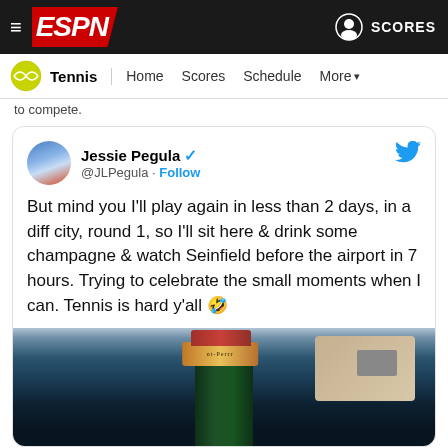ESPN Tennis - Home Scores Schedule More
to compete.
Jessie Pegula @JLPegula · Follow

But mind you I'll play again in less than 2 days, in a diff city, round 1, so I'll sit here & drink some champagne & watch Seinfield before the airport in 7 hours. Trying to celebrate the small moments when I can. Tennis is hard y'all 🤣
[Figure (photo): Close-up photo of a champagne bottle top (appears to be Laurent-Perrier or similar), with a room visible in background]